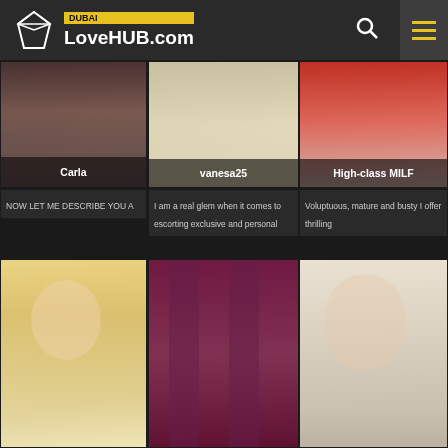DUBAI LoveHUB.com
[Figure (screenshot): Card image for Carla]
Carla
NOW LET ME DESCRIBE YOU A
[Figure (screenshot): Card image for vanesa25]
vanesa25
I am a real glem when it comes to escorting exclusive and personal
[Figure (screenshot): Card image for High-class MILF]
High-class MILF
Voluptuous, mature and busty I offer thrilling
[Figure (photo): Blonde woman portrait]
[Figure (photo): Purple curtain room]
[Figure (photo): Older blonde woman smiling]